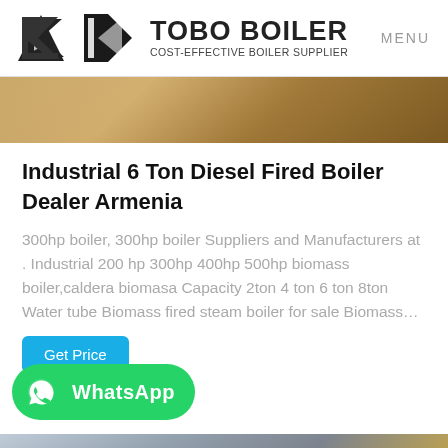TOBO BOILER COST-EFFECTIVE BOILER SUPPLIER MENU
[Figure (photo): Close-up photo of cylindrical boiler surface, top portion visible]
Industrial 6 Ton Diesel Fired Boiler Dealer Armenia
300hp boiler, 300hp boiler Suppliers and Manufacturers at . Industrial 200 hp 300hp 400hp 500hp biomass boiler,caldera biomasa Capacity 2ton 4 ton 6 ton 8ton Water tube Biomass fired steam boiler for sale Biomass…
Get Price
[Figure (screenshot): WhatsApp button with icon and text]
[Figure (photo): Industrial boiler equipment photo at the bottom of the page]